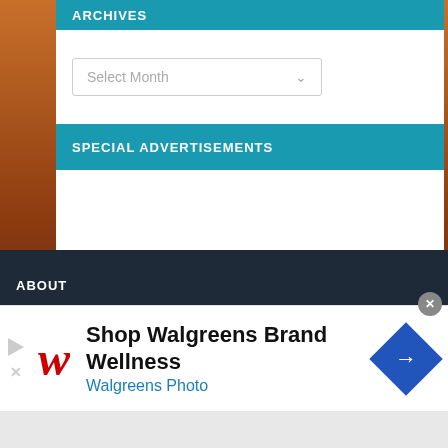ARCHIVES
Select Month
SPECIAL ADVERTISEMENTS
ABOUT
[Figure (screenshot): Walgreens advertisement banner: 'Shop Walgreens Brand Wellness / Walgreens Photo' with red Walgreens W logo and blue diamond navigation icon]